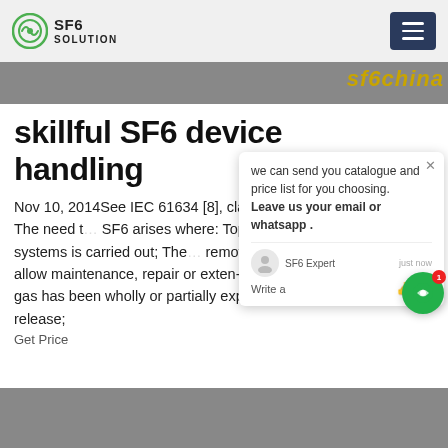SF6 SOLUTION
[Figure (photo): Partial image strip at top with sf6china text overlay in gold/yellow]
skillful SF6 device handling
Nov 10, 2014See IEC 61634 [8], clause "Handling of used SF6". The need to reclaim SF6 arises where: Topping up of closed pressure systems is carried out; The gas has to be removed from an enclosure to allow maintenance, repair or exten-sion to be carried out; The gas has been wholly or partially expelled due to an abnormal release;
Get Price
[Figure (screenshot): Chat popup overlay with SF6 Expert chat widget showing catalogue offer message]
[Figure (photo): Industrial equipment photo strip at bottom]